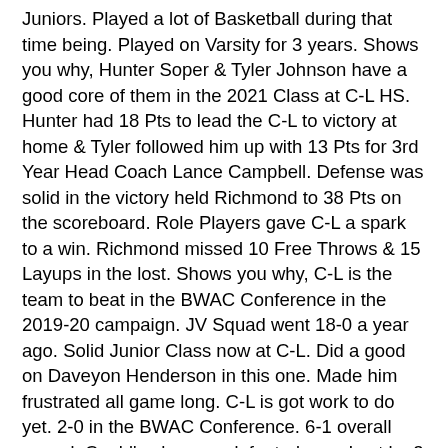Juniors. Played a lot of Basketball during that time being. Played on Varsity for 3 years. Shows you why, Hunter Soper & Tyler Johnson have a good core of them in the 2021 Class at C-L HS. Hunter had 18 Pts to lead the C-L to victory at home & Tyler followed him up with 13 Pts for 3rd Year Head Coach Lance Campbell. Defense was solid in the victory held Richmond to 38 Pts on the scoreboard. Role Players gave C-L a spark to a win. Richmond missed 10 Free Throws & 15 Layups in the lost. Shows you why, C-L is the team to beat in the BWAC Conference in the 2019-20 campaign. JV Squad went 18-0 a year ago. Solid Junior Class now at C-L. Did a good on Daveyon Henderson in this one. Made him frustrated all game long. C-L is got work to do yet. 2-0 in the BWAC Conference. 6-1 overall record. Could've been undefeated now. Lost by 3 Pts to Flint Southwestern at SC4 a couple of weeks ago. They beat Marysville, St. Clair, Port Huron Northern, & Grosse Pointe South, & Almont. Tough schedule helps you go along ways in the State Tournament. C-L is the